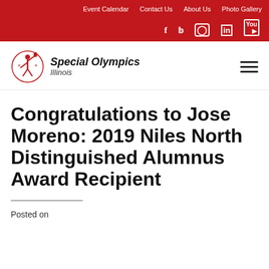Event Calendar  Contact Us  About Us  Photo Gallery
[Figure (logo): Special Olympics Illinois logo with red figure holding torch and text 'Special Olympics Illinois']
Congratulations to Jose Moreno: 2019 Niles North Distinguished Alumnus Award Recipient
Posted on